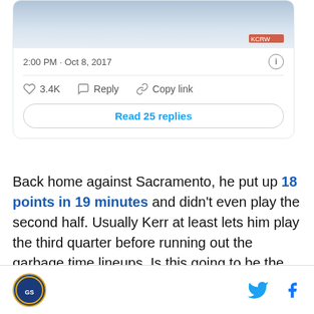[Figure (screenshot): Cropped social media (Twitter) card showing a tweet timestamp '2:00 PM · Oct 8, 2017' with an info icon, a divider line, action buttons (heart 3.4K, Reply, Copy link), and a 'Read 25 replies' button. Above is a partially visible image.]
Back home against Sacramento, he put up 18 points in 19 minutes and didn't even play the second half. Usually Kerr at least lets him play the third quarter before running out the garbage time lineups. Is this going to be the Warriors new way of humiliating teams this year?
[Figure (logo): Circular logo in bottom left footer area - appears to be a California-themed sports logo with gold border.]
[Figure (logo): Twitter bird icon and Facebook 'f' icon in bottom right footer area.]